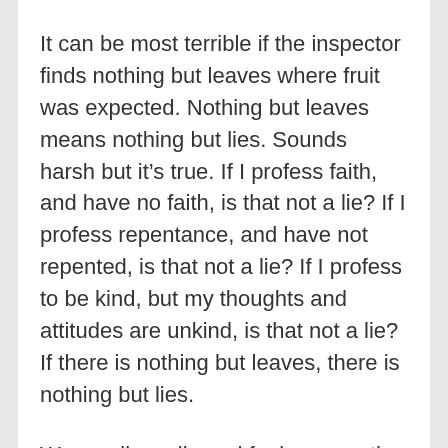It can be most terrible if the inspector finds nothing but leaves where fruit was expected. Nothing but leaves means nothing but lies. Sounds harsh but it's true. If I profess faith, and have no faith, is that not a lie? If I profess repentance, and have not repented, is that not a lie? If I profess to be kind, but my thoughts and attitudes are unkind, is that not a lie? If there is nothing but leaves, there is nothing but lies.
We can live a lie and fool one another because none of us can inspect the hearts of others. But Jesus can. He won't be fooled. God